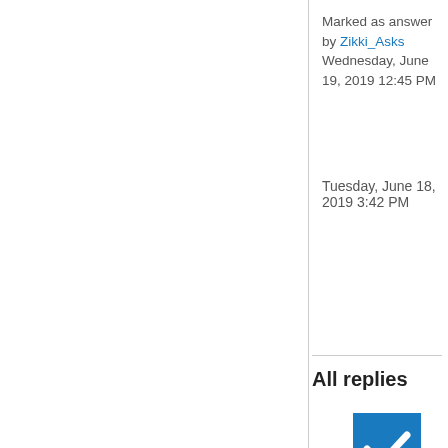Marked as answer by Zikki_Asks Wednesday, June 19, 2019 12:45 PM
Tuesday, June 18, 2019 3:42 PM
All replies
[Figure (other): Blue checkbox with white checkmark (answered indicator)]
[Figure (other): Up arrow vote button]
0
Sign in to vote
Hi,
The SCOM evaluation is 180 days, after that it will expire and